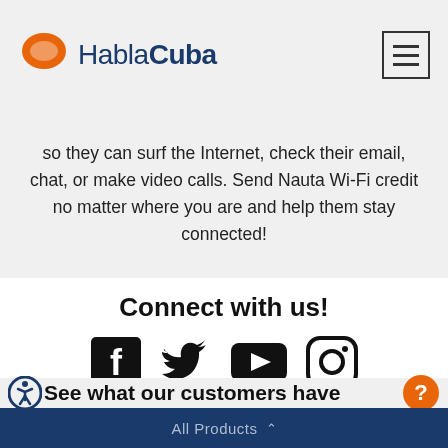HablaCuba
so they can surf the Internet, check their email, chat, or make video calls. Send Nauta Wi-Fi credit no matter where you are and help them stay connected!
Connect with us!
[Figure (infographic): Social media icons: Facebook, Twitter, YouTube, Instagram]
See what our customers have
All Products